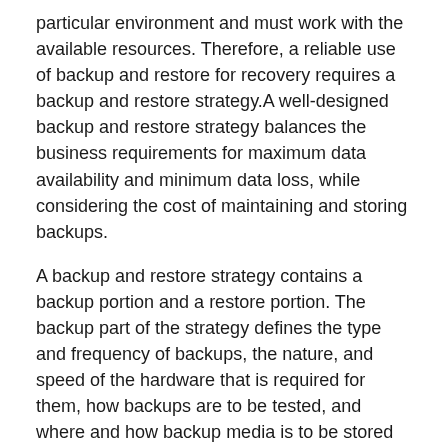particular environment and must work with the available resources. Therefore, a reliable use of backup and restore for recovery requires a backup and restore strategy.A well-designed backup and restore strategy balances the business requirements for maximum data availability and minimum data loss, while considering the cost of maintaining and storing backups.
A backup and restore strategy contains a backup portion and a restore portion. The backup part of the strategy defines the type and frequency of backups, the nature, and speed of the hardware that is required for them, how backups are to be tested, and where and how backup media is to be stored (including security considerations). The restore part of the strategy defines who is responsible for performing restores, how restores should be performed to meet your goals for database availability and minimizing data loss, and how restores are tested.